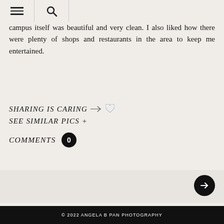☰ 🔍
campus itself was beautiful and very clean. I also liked how there were plenty of shops and restaurants in the area to keep me entertained.
SHARING IS CARING →♡
SEE SIMILAR PICS +
COMMENTS 0
© 2022 ANGELA B PAN PHOTOGRAPHY